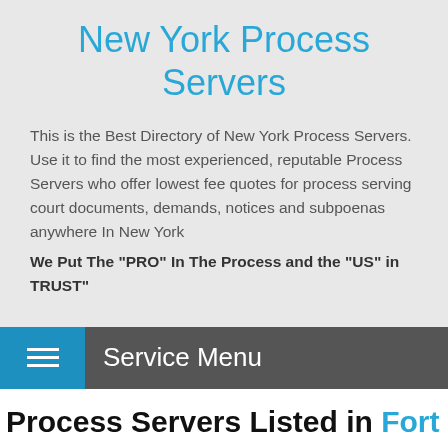New York Process Servers
This is the Best Directory of New York Process Servers. Use it to find the most experienced, reputable Process Servers who offer lowest fee quotes for process serving court documents, demands, notices and subpoenas anywhere In New York
We Put The "PRO" In The Process and the "US" in TRUST"
Service Menu
Process Servers Listed in Fort Drum, NY